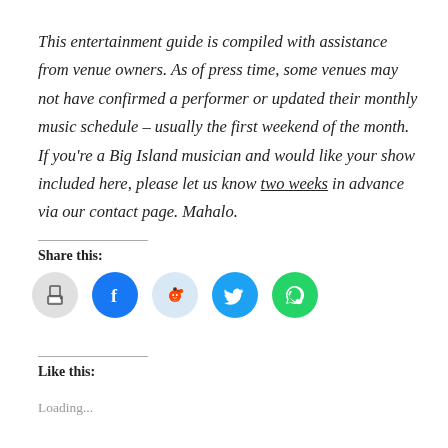This entertainment guide is compiled with assistance from venue owners. As of press time, some venues may not have confirmed a performer or updated their monthly music schedule – usually the first weekend of the month. If you're a Big Island musician and would like your show included here, please let us know two weeks in advance via our contact page. Mahalo.
Share this:
[Figure (infographic): Row of five social sharing icon buttons: print (grey circle), Facebook (blue circle), Reddit (light blue circle), Twitter (blue circle), WhatsApp (green circle)]
Like this:
Loading...